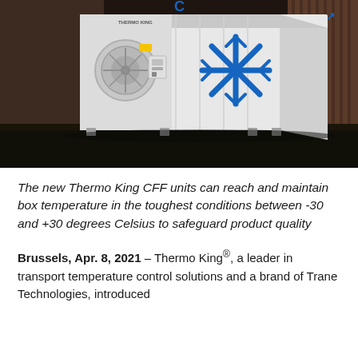[Figure (photo): A white Thermo King refrigerated container unit (reefer) with a blue snowflake graphic on the side door, parked against dark corrugated metal containers in the background. The unit has circular fan housing and control panels visible on the front end.]
The new Thermo King CFF units can reach and maintain box temperature in the toughest conditions between -30 and +30 degrees Celsius to safeguard product quality
Brussels, Apr. 8, 2021 – Thermo King®, a leader in transport temperature control solutions and a brand of Trane Technologies, introduced